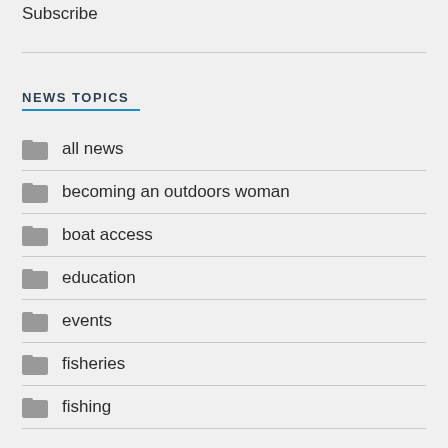Subscribe
NEWS TOPICS
all news
becoming an outdoors woman
boat access
education
events
fisheries
fishing